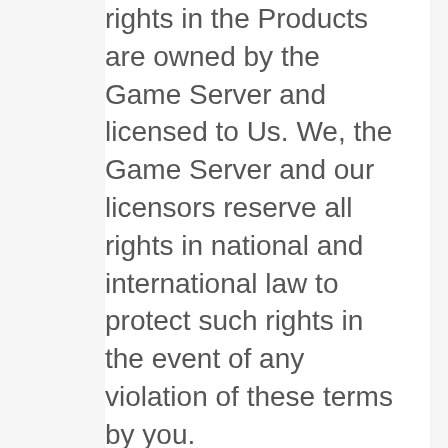rights in the Products are owned by the Game Server and licensed to Us. We, the Game Server and our licensors reserve all rights in national and international law to protect such rights in the event of any violation of these terms by you.
2. We do not guarantee continuous, error-free, virus free or secure operation and access to the Webstore and its Products.
3. Purchases from Us are payments for the virtual items contained in the purchase. This transaction is final and